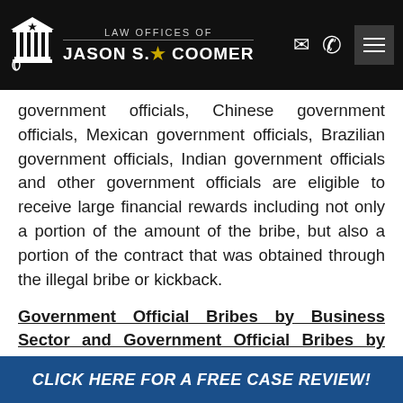LAW OFFICES OF JASON S. COOMER
government officials, Chinese government officials, Mexican government officials, Brazilian government officials, Indian government officials and other government officials are eligible to receive large financial rewards including not only a portion of the amount of the bribe, but also a portion of the contract that was obtained through the illegal bribe or kickback.
Government Official Bribes by Business Sector and Government Official Bribes by Region, (Public Works Contract Bribes,
CLICK HERE FOR A FREE CASE REVIEW!